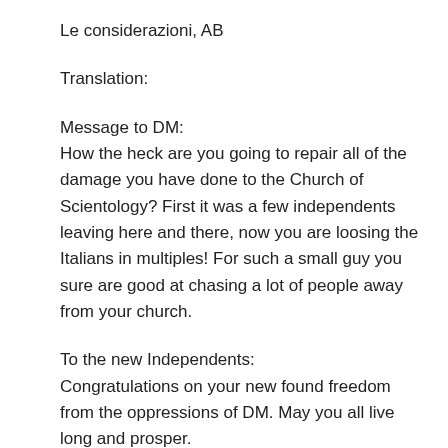Le considerazioni, AB
Translation:
Message to DM:
How the heck are you going to repair all of the damage you have done to the Church of Scientology? First it was a few independents leaving here and there, now you are loosing the Italians in multiples! For such a small guy you sure are good at chasing a lot of people away from your church.
To the new Independents:
Congratulations on your new found freedom from the oppressions of DM. May you all live long and prosper.